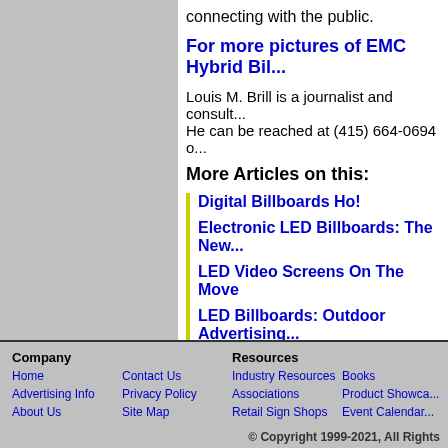connecting with the public.
For more pictures of EMC Hybrid Bil...
Louis M. Brill is a journalist and consult... He can be reached at (415) 664-0694 o...
More Articles on this:
Digital Billboards Ho!
Electronic LED Billboards: The New...
LED Video Screens On The Move
LED Billboards: Outdoor Advertising...
Company | Home | Advertising Info | About Us | Contact Us | Privacy Policy | Site Map | Resources | Industry Resources | Associations | Retail Sign Shops | Books | Product Showcase | Event Calendar | © Copyright 1999-2021, All Rights